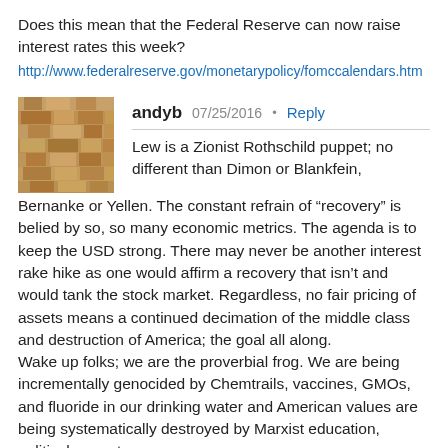Does this mean that the Federal Reserve can now raise interest rates this week?
http://www.federalreserve.gov/monetarypolicy/fomccalendars.htm
[Figure (photo): Avatar image showing a close-up texture of stacked stone or wood, brownish/tan colors.]
andyb   07/25/2016 • Reply
Lew is a Zionist Rothschild puppet; no different than Dimon or Blankfein, Bernanke or Yellen. The constant refrain of “recovery” is belied by so, so many economic metrics. The agenda is to keep the USD strong. There may never be another interest rake hike as one would affirm a recovery that isn’t and would tank the stock market. Regardless, no fair pricing of assets means a continued decimation of the middle class and destruction of America; the goal all along. Wake up folks; we are the proverbial frog. We are being incrementally genocided by Chemtrails, vaccines, GMOs, and fluoride in our drinking water and American values are being systematically destroyed by Marxist education, political correctness